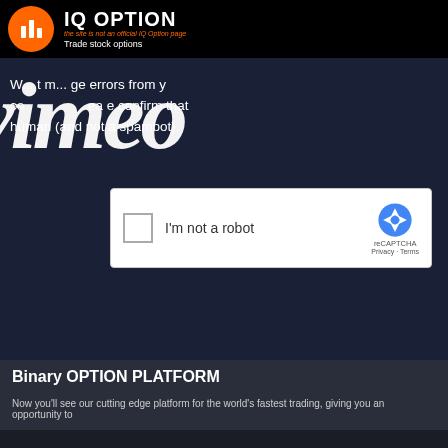IQ OPTION
the site is not an official IQ Option page
Trade stock options
We ...errors from you... confirm that... human (and not a spambot).
[Figure (screenshot): Vimeo watermark overlay on dark background]
[Figure (screenshot): reCAPTCHA checkbox widget with 'I'm not a robot' label, reCAPTCHA logo, Privacy and Terms links]
Binary OPTION PLATFORM
Now you'll see our cutting edge platform for the world's fastest trading, giving you an opportunity to...